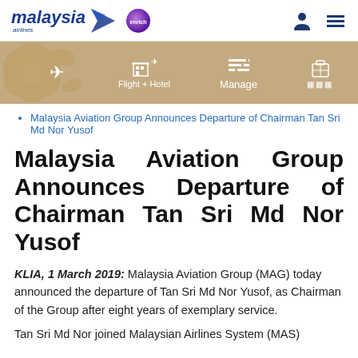[Figure (logo): Malaysia Airlines logo with wing icon]
[Figure (logo): Enrich loyalty program purple circle logo]
[Figure (infographic): Gold navigation bar with hibiscus flower silhouette, airplane icon, Flight + Hotel icon, Manage icon, and luggage icon]
Malaysia Aviation Group Announces Departure of Chairman Tan Sri Md Nor Yusof
Malaysia Aviation Group Announces Departure of Chairman Tan Sri Md Nor Yusof
KLIA, 1 March 2019: Malaysia Aviation Group (MAG) today announced the departure of Tan Sri Md Nor Yusof, as Chairman of the Group after eight years of exemplary service.
Tan Sri Md Nor joined Malaysian Airlines System (MAS)